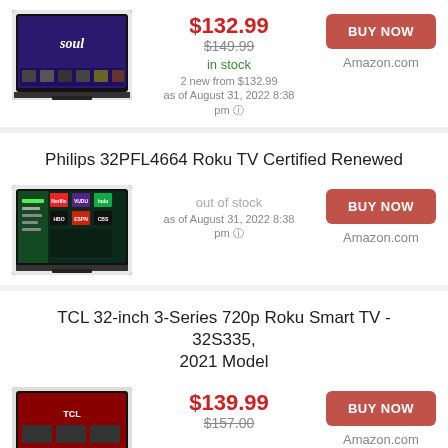[Figure (photo): TV showing Soul movie on screen]
$132.99
$149.99 (strikethrough)
in stock
2 new from $132.99 as of August 31, 2022 8:38 pm
BUY NOW
Amazon.com
Philips 32PFL4664 Roku TV Certified Renewed
[Figure (photo): Philips Roku TV showing app menu]
out of stock
as of August 31, 2022 8:38 pm
BUY NOW
Amazon.com
TCL 32-inch 3-Series 720p Roku Smart TV - 32S335, 2021 Model
[Figure (photo): TCL Roku Smart TV]
$139.99
$157.00 (strikethrough)
BUY NOW
Amazon.com